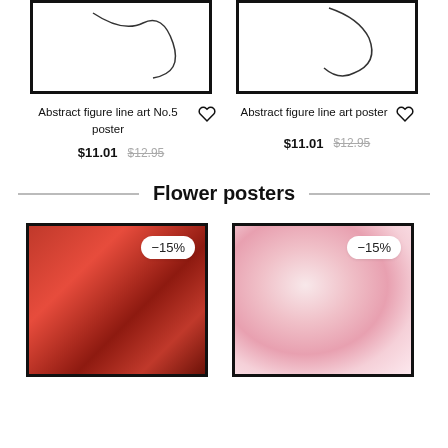[Figure (illustration): Abstract figure line art sketch in black frame]
Abstract figure line art No.5 poster
$11.01  $12.95
[Figure (illustration): Abstract figure line art sketch in black frame]
Abstract figure line art poster
$11.01  $12.95
Flower posters
[Figure (photo): Red flower cluster photo with -15% badge]
[Figure (photo): Pink blurry flower photo with -15% badge]